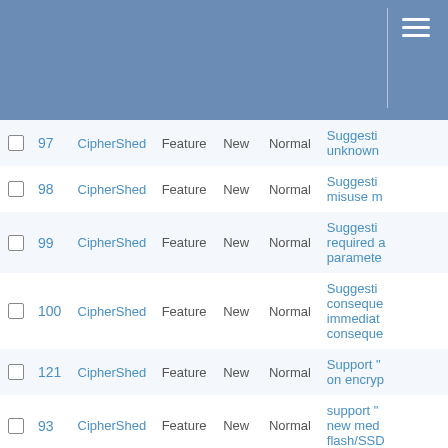|  | # | Project | Type | Status | Priority | Summary |
| --- | --- | --- | --- | --- | --- | --- |
|  | 97 | CipherShed | Feature | New | Normal | Suggesti... unknown |
|  | 98 | CipherShed | Feature | New | Normal | Suggesti... misuse m |
|  | 99 | CipherShed | Feature | New | Normal | Suggesti... required... paramete |
|  | 100 | CipherShed | Feature | New | Normal | Suggesti... conseque... immediat... conseque |
|  | 121 | CipherShed | Feature | New | Normal | Support "... on encryp |
|  | 93 | CipherShed | Feature | New | Normal | support "... new med... flash/SSD |
|  | 102 | CipherShed | Feature | New | Normal | support f... bootloade |
|  | 122 | CipherShed | Feature | New | Normal | support k |
|  | 36 | CipherShed | Feature | New | Normal | support n... open an e |
|  | 89 | CipherShed | Feature | New | Normal | Support t |